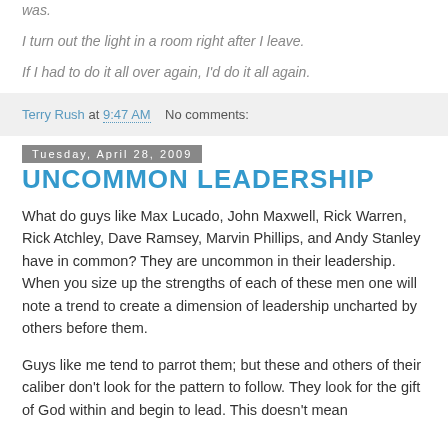was.
I turn out the light in a room right after I leave.
If I had to do it all over again, I'd do it all again.
Terry Rush at 9:47 AM   No comments:
Tuesday, April 28, 2009
UNCOMMON LEADERSHIP
What do guys like Max Lucado, John Maxwell, Rick Warren, Rick Atchley, Dave Ramsey, Marvin Phillips, and Andy Stanley have in common? They are uncommon in their leadership. When you size up the strengths of each of these men one will note a trend to create a dimension of leadership uncharted by others before them.
Guys like me tend to parrot them; but these and others of their caliber don't look for the pattern to follow. They look for the gift of God within and begin to lead. This doesn't mean